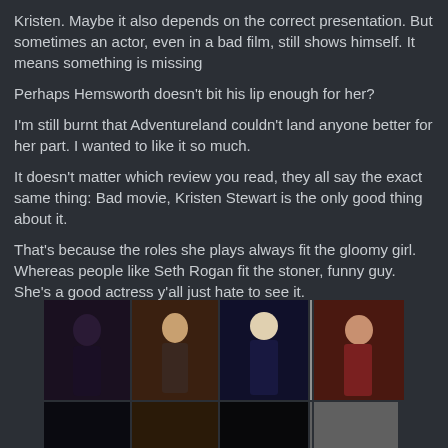Kristen. Maybe it also depends on the correct presentation. But sometimes an actor, even in a bad film, still shows himself. It means something is missing
Perhaps Hemsworth doesn't bit his lip enough for her?
I'm still burnt that Adventureland couldn't land anyone better for her part. I wanted to like it so much.
It doesn't matter which review you read, they all say the exact same thing: Bad movie, Kristen Stewart is the only good thing about it.
That's because the roles she plays always fit the gloomy girl. Whereas people like Seth Rogan fit the stoner, funny guy. She's a good actress y'all just hate to see it.
[Figure (photo): A collage/mosaic of multiple photos of Kristen Stewart in various roles and costumes, arranged in two rows.]